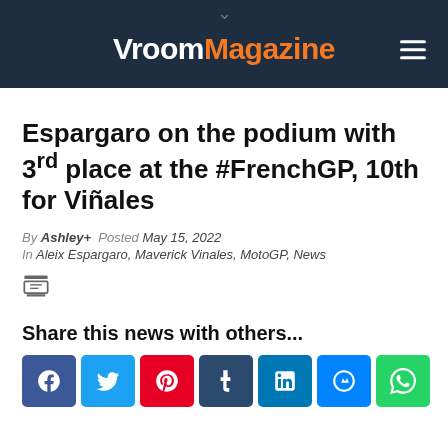VroomMagazine
Espargaro on the podium with 3rd place at the #FrenchGP, 10th for Viñales
By Ashley+  Posted May 15, 2022
In Aleix Espargaro, Maverick Vinales, MotoGP, News
Share this news with others...